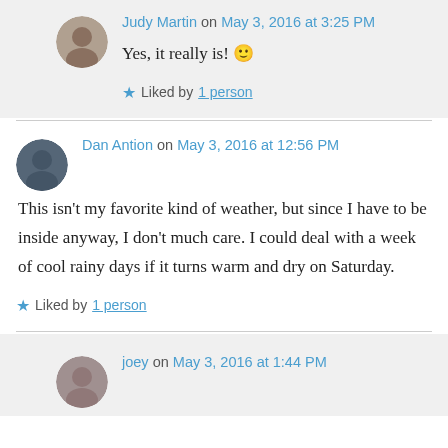Judy Martin on May 3, 2016 at 3:25 PM
Yes, it really is! 🙂
Liked by 1 person
Dan Antion on May 3, 2016 at 12:56 PM
This isn't my favorite kind of weather, but since I have to be inside anyway, I don't much care. I could deal with a week of cool rainy days if it turns warm and dry on Saturday.
Liked by 1 person
joey on May 3, 2016 at 1:44 PM